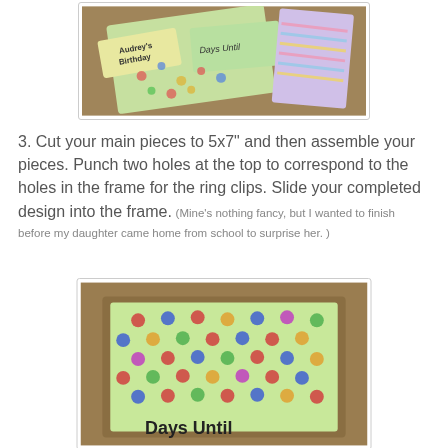[Figure (photo): Photo of colorful paper cards on a wooden table including labels reading 'Audrey's Birthday' and 'Days Until' with polka dot and striped patterns]
3.  Cut your main pieces to 5x7" and then assemble your pieces.  Punch two holes at the top to correspond to the holes in the frame for the ring clips.  Slide your completed design into the frame.  (Mine's nothing fancy, but I wanted to finish before my daughter came home from school to surprise her. )
[Figure (photo): Photo of a polka-dot patterned green paper/card in a wooden frame with 'Days Until' text visible at the bottom]